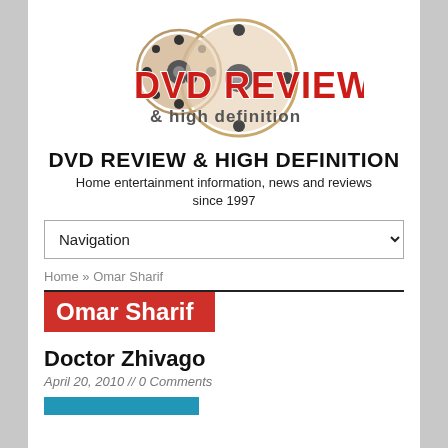[Figure (logo): DVD Review & High Definition logo with film reel graphics, red bold 'DVD REVIEW' text and '& high definition' subtitle]
DVD REVIEW & HIGH DEFINITION
Home entertainment information, news and reviews since 1997
Navigation
Home » Omar Sharif
Omar Sharif
Doctor Zhivago
April 20, 2010 // 0 Comments